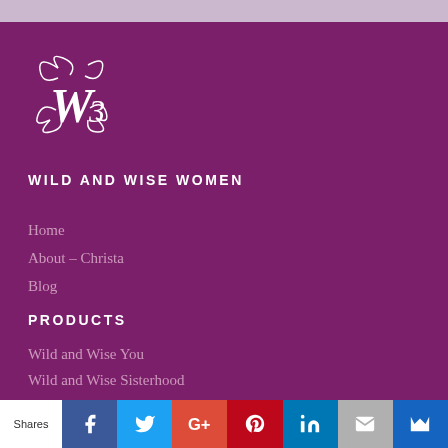[Figure (logo): W3 decorative script logo with swirls, white on purple background]
WILD AND WISE WOMEN
Home
About – Christa
Blog
PRODUCTS
Wild and Wise You
Wild and Wise Sisterhood
Shop
[Figure (infographic): Social sharing bar with Shares label, Facebook, Twitter, Google+, Pinterest, LinkedIn, Email, and bookmark icons]